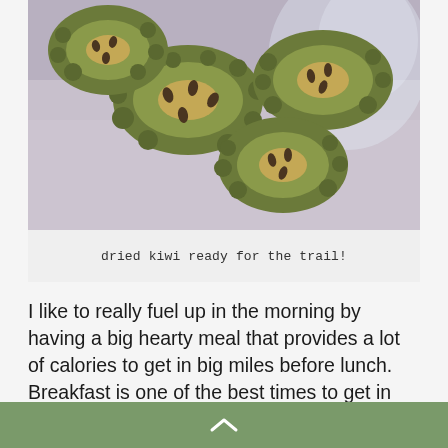[Figure (photo): Photo of dried kiwi slices in a plastic bag, viewed from above. The slices show green and brown tones against a light purple/grey surface.]
dried kiwi ready for the trail!
I like to really fuel up in the morning by having a big hearty meal that provides a lot of calories to get in big miles before lunch. Breakfast is one of the best times to get in your calories as there are a lot of great options to do so. Beef up an average meal with Nido powdered milk or nuts to keep you full. Powdered fruit is easy to make and adds a lot of nutrients to your meals...